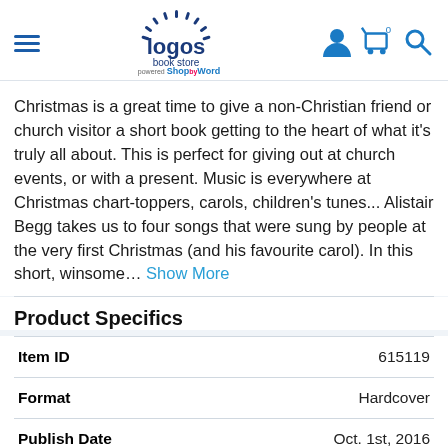Logos Book Store — powered by ShopByWord
Christmas is a great time to give a non-Christian friend or church visitor a short book getting to the heart of what it's truly all about. This is perfect for giving out at church events, or with a present. Music is everywhere at Christmas chart-toppers, carols, children's tunes... Alistair Begg takes us to four songs that were sung by people at the very first Christmas (and his favourite carol). In this short, winsome… Show More
Product Specifics
|  |  |
| --- | --- |
| Item ID | 615119 |
| Format | Hardcover |
| Publish Date | Oct. 1st, 2016 |
| ISBN-13 | 178169199… |